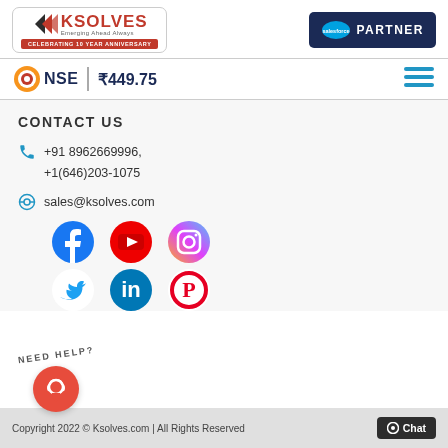[Figure (logo): Ksolves logo with triangle arrow, text 'KSOLVES Emerging Ahead Always', red ribbon 'CELEBRATING 10 YEAR ANNIVERSARY']
[Figure (logo): Salesforce PARTNER badge in dark blue]
NSE | ₹449.75
CONTACT US
+91 8962669996, +1(646)203-1075
sales@ksolves.com
[Figure (infographic): Social media icons: Facebook, YouTube, Instagram, Twitter, LinkedIn, Pinterest]
[Figure (infographic): NEED HELP? chat support widget with red circle headphone icon]
Copyright 2022 © Ksolves.com | All Rights Reserved